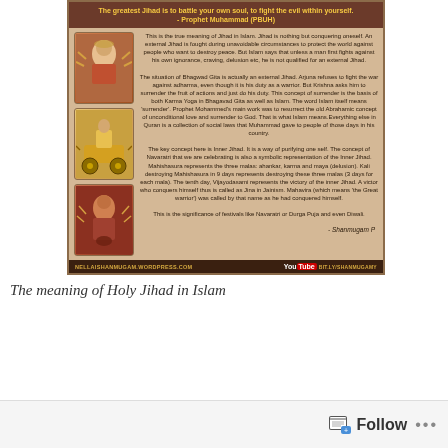The greatest Jihad is to battle your own soul, to fight the evil within yourself. - Prophet Muhammad (PBUH)
This is the true meaning of Jihad in Islam. Jihad is nothing but conquering oneself. An external Jihad is fought during unavoidable circumstances to protect the world against people who want to destroy peace. But Islam says that unless a man first fights against his own ignorance, craving, delusion etc, he is not qualified for an external Jihad.
The situation of Bhagwad Gita is actually an external Jihad. Arjuna refuses to fight the war against adharma, even though it is his duty as a warrior. But Krishna asks him to surrender the fruit of actions and just do his duty. This concept of surrender is the basis of both Karma Yoga in Bhagavad Gita as well as Islam. The word Islam itself means 'surrender'. Prophet Mohammed's main work was to resurrect the old Abrahamic concept of unconditional love and surrender to God. That is what Islam means.Everything else in Quran is a collection of social laws that Muhammad gave to people of those days in his country.
The key concept here is Inner Jihad. It is a way of purifying one self. The concept of Navaratri that we are celebrating is also a symbolic representation of the Inner Jihad. Mahishasura represents the three malas: ahankar, karma and maya (delusion). Kali destroying Mahishasura in 9 days represents destroying these three malas (3 days for each mala). The tenth day, Vijayodasami represents the victory of the inner Jihad. A victor who conquers himself thus is called as Jina in Jainism. Mahavira (which means 'the Great warrior') was called by that name as he had conquered himself.
This is the significance of festivals like Navaratri or Durga Puja and even Diwali.
- Shanmugam P
NELLAISHANMUGAM.WORDPRESS.COM    You[Tube] BIT.LY/SHANMUGAMY
The meaning of Holy Jihad in Islam